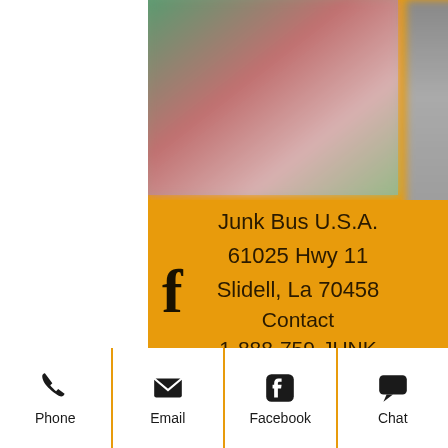[Figure (photo): Two blurred photos at the top of the page on an orange background - one showing a green and red scene on the left, one showing a lighter scene on the right]
Junk Bus U.S.A.
61025 Hwy 11
Slidell, La 70458
Contact
1-888-759-JUNK
rentajunkbus@gmail.com
[Figure (logo): Facebook 'f' logo icon in dark color]
Phone | Email | Facebook | Chat